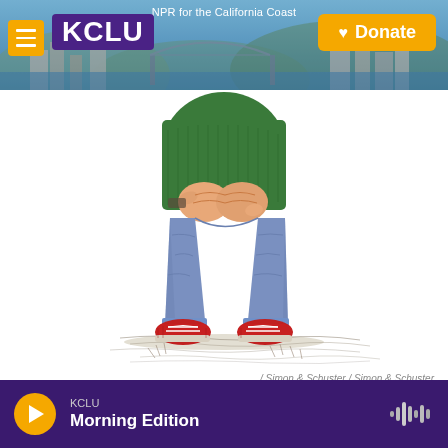NPR for the California Coast — KCLU — Donate
[Figure (illustration): Illustration of a child from the waist down wearing a green sweater, blue jeans, and red sneakers, standing on a sketched ground. Book illustration style from Simon & Schuster.]
/ Simon & Schuster / Simon & Schuster
After 50 years of "crappy days," the real Alexander says, "I'm gonna keep rooting for him."
KCLU Morning Edition